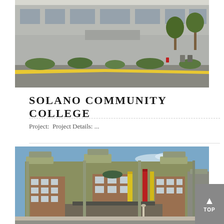[Figure (photo): Exterior photo of a modern building with glass facade, landscaping with shrubs and plants, a yellow-striped road, and a parking area in the foreground.]
SOLANO COMMUNITY COLLEGE
Project:  Project Details: ...
[Figure (photo): Exterior photo of a multi-story mixed-use building with brick and green paneling, large windows, decorative columns, yellow and red banners on the facade, and a blue sky in the background.]